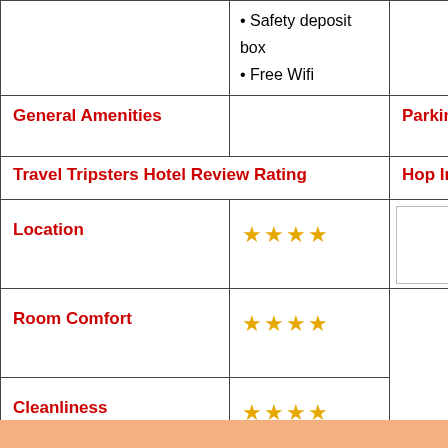|  | Safety deposit box / Free Wifi | Parking |
| --- | --- | --- |
| General Amenities |  | Parking |
| Travel Tripsters Hotel Review Rating |  | Hop Inn Hotel |
| Location | ★★★★ |  |
| Room Comfort | ★★★★ |  |
| Cleanliness | ★★★★ |  |
| Service | ★★★ |  |
| Price | ★★★★ |  |